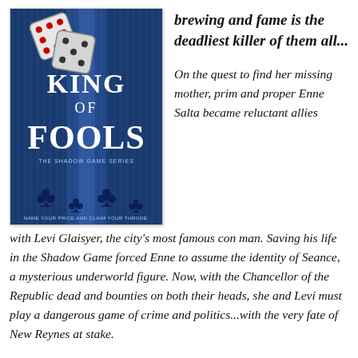[Figure (illustration): Book cover of 'King of Fools' from The Shadow Game Series, showing dice and playing card suit symbols on a blue striped background with the tagline 'Name your price and claim your throne.']
brewing and fame is the deadliest killer of them all...
On the quest to find her missing mother, prim and proper Enne Salta became reluctant allies with Levi Glaisyer, the city's most famous con man. Saving his life in the Shadow Game forced Enne to assume the identity of Seance, a mysterious underworld figure. Now, with the Chancellor of the Republic dead and bounties on both their heads, she and Levi must play a dangerous game of crime and politics...with the very fate of New Reynes at stake.